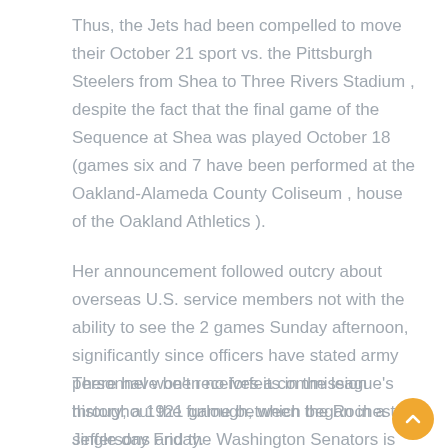Thus, the Jets had been compelled to move their October 21 sport vs. the Pittsburgh Steelers from Shea to Three Rivers Stadium , despite the fact that the final game of the Sequence at Shea was played October 18 (games six and 7 have been performed at the Oakland-Alameda County Coliseum , house of the Oakland Athletics ).
Her announcement followed outcry about overseas U.S. service members not with the ability to see the 2 games Sunday afternoon, significantly since officers have stated army personnel won't receives a commission throughout the furlough, which began in a single day Friday.
There have been no forfeits in the league's history; a 1921 game between the Rochester Jeffersons and the Washington Senators is occasionally listed as a forfeit, however due to the lax cancellation guidelines of the time and uncertainty over which staff (if either) was at fault